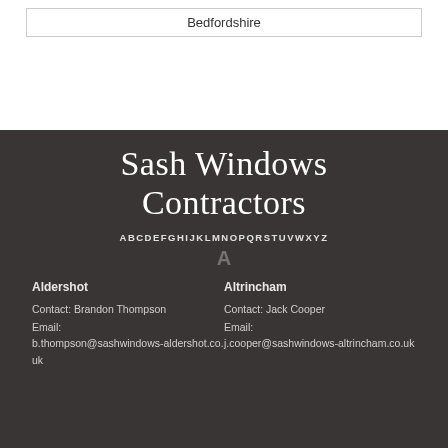Bedfordshire
Sash Windows Contractors
ABCDEFGHIJKLMNOPQRSTUVWXYZ
A
Aldershot
Contact: Brandon Thompson
Email:
b.thompson@sashwindows-aldershot.co.uk
Altrincham
Contact: Jack Cooper
Email:
j.cooper@sashwindows-altrincham.co.uk